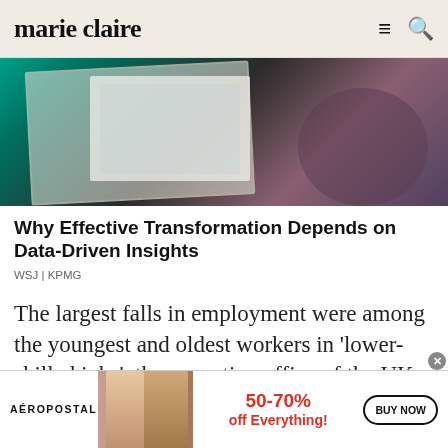marie claire
[Figure (photo): Person holding a tablet device showing data/charts, with teal and dark tones in background]
Why Effective Transformation Depends on Data-Driven Insights
WSJ | KPMG
The largest falls in employment were among the youngest and oldest workers in 'lower-skilled jobs', the executive office of the UK Statistics
[Figure (infographic): Aéropostale advertisement banner: two female models, text '50-70% off Everything!' in red, BUY NOW button]